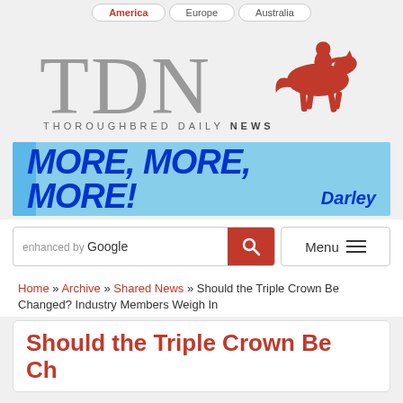America | Europe | Australia
[Figure (logo): TDN Thoroughbred Daily News logo with large grey TDN letters and red horse jockey silhouette]
[Figure (infographic): Advertisement banner in light blue with bold italic text 'MORE, MORE, MORE!' in dark blue and 'Darley' branding]
[Figure (screenshot): Search bar with 'enhanced by Google' text and red search button, plus Menu button with hamburger icon]
Home » Archive » Shared News » Should the Triple Crown Be Changed? Industry Members Weigh In
Should the Triple Crown Be Changed? Industry Members Weigh In